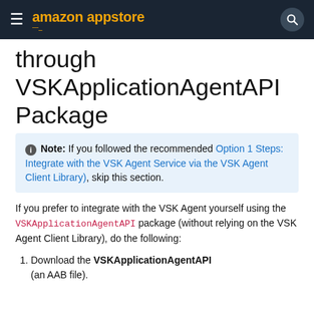amazon appstore
through VSKApplicationAgentAPI Package
Note: If you followed the recommended Option 1 Steps: Integrate with the VSK Agent Service via the VSK Agent Client Library), skip this section.
If you prefer to integrate with the VSK Agent yourself using the VSKApplicationAgentAPI package (without relying on the VSK Agent Client Library), do the following:
1. Download the VSKApplicationAgentAPI (an AAB file).